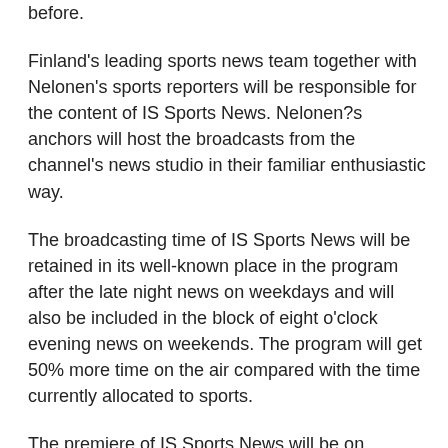before.
Finland's leading sports news team together with Nelonen's sports reporters will be responsible for the content of IS Sports News. Nelonen?s anchors will host the broadcasts from the channel's news studio in their familiar enthusiastic way.
The broadcasting time of IS Sports News will be retained in its well-known place in the program after the late night news on weekdays and will also be included in the block of eight o'clock evening news on weekends. The program will get 50% more time on the air compared with the time currently allocated to sports.
The premiere of IS Sports News will be on Sunday February 29 broadcast directly from the Media Square of Sanoma House.